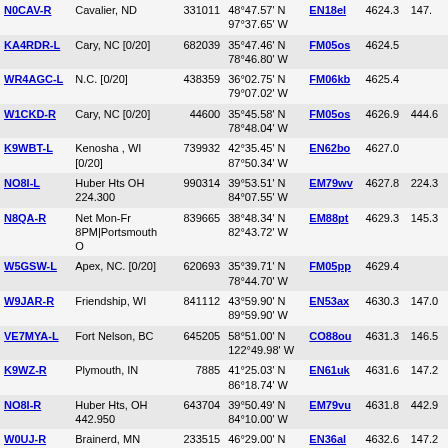| Callsign | Location | ID | Coordinates | Grid | Freq | Other |
| --- | --- | --- | --- | --- | --- | --- |
| N0CAV-R | Cavalier, ND | 331011 | 48°47.57' N 97°37.65' W | EN18el | 4624.3 | 147. |
| KA4RDR-L | Cary, NC [0/20] | 682039 | 35°47.46' N 78°46.80' W | FM05os | 4624.5 |  |
| WR4AGC-L | N.C. [0/20] | 438359 | 36°02.75' N 79°07.02' W | FM06kb | 4625.4 |  |
| W1CKD-R | Cary, NC [0/20] | 44600 | 35°45.58' N 78°48.04' W | FM05os | 4626.9 | 444.6 |
| K9WBT-L | Kenosha , WI [0/20] | 739932 | 42°35.45' N 87°50.34' W | EN62bo | 4627.0 |  |
| NO8I-L | Huber Hts OH 224.300 | 990314 | 39°53.51' N 84°07.55' W | EM79wv | 4627.8 | 224.3 |
| N8QA-R | Net Mon-Fr 8PM|Portsmouth O | 839665 | 38°48.34' N 82°43.72' W | EM88pt | 4629.3 | 145.3 |
| W5GSW-L | Apex, NC. [0/20] | 620693 | 35°39.71' N 78°44.70' W | FM05pp | 4629.4 |  |
| W9JAR-R | Friendship, WI | 841112 | 43°59.90' N 89°59.90' W | EN53ax | 4630.3 | 147.0 |
| VE7MYA-L | Fort Nelson, BC | 645205 | 58°51.00' N 122°49.98' W | CO88ou | 4631.3 | 146.5 |
| K9WZ-R | Plymouth, IN | 7885 | 41°25.03' N 86°18.74' W | EN61uk | 4631.6 | 147.2 |
| NO8I-R | Huber Hts, OH 442.950 | 643704 | 39°50.49' N 84°10.00' W | EM79vu | 4631.8 | 442.9 |
| W0UJ-R | Brainerd, MN | 233515 | 46°29.00' N 93°57.30' W | EN36al | 4632.6 | 147.2 |